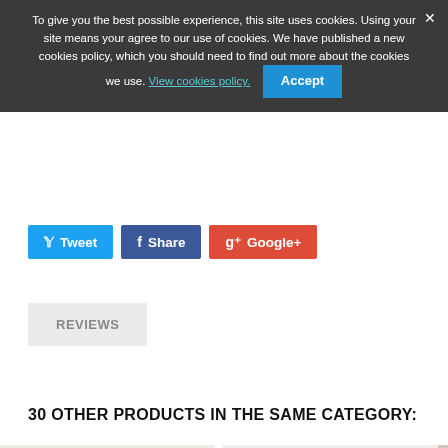To give you the best possible experience, this site uses cookies. Using your site means your agree to our use of cookies. We have published a new cookies policy, which you should need to find out more about the cookies we use. View cookies policy.  Accept
Tweet  Share  Google+
REVIEWS
30 OTHER PRODUCTS IN THE SAME CATEGORY:
[Figure (photo): Two Rubik's cubes side by side - one with black stickers on blue face and orange face, one with bright green and orange stickerless cube]
[Figure (photo): Two Rubik's cubes side by side - one with black stickers blue face and orange face, one stickerless red cube]
[Figure (photo): Partially visible third Rubik's cube product image at right edge]